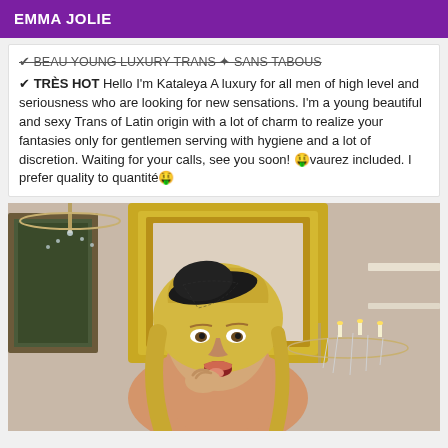EMMA JOLIE
✔ BEAU YOUNG LUXURY TRANS ✦ SANS TABOUS
✔ TRÈS HOT Hello I'm Kataleya A luxury for all men of high level and seriousness who are looking for new sensations. I'm a young beautiful and sexy Trans of Latin origin with a lot of charm to realize your fantasies only for gentlemen serving with hygiene and a lot of discretion. Waiting for your calls, see you soon! 🤑vaurez included. I prefer quality to quantité🤑
[Figure (photo): Photo of a blonde woman wearing a black fascinator hat, posing in front of an ornate golden mirror and crystal chandelier in an elegant room setting.]